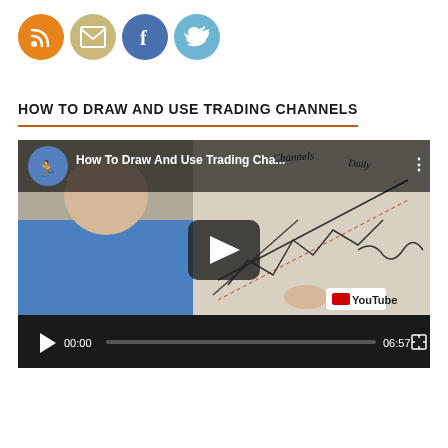[Figure (other): Row of four social media icons: RSS (orange), Email (tan/gold), Facebook (blue), Twitter (light blue)]
HOW TO DRAW AND USE TRADING CHANNELS
[Figure (screenshot): Embedded YouTube video player showing 'How To Draw And Use Trading Cha...' with a man in a blue shirt at a whiteboard with chart drawings. Video controls show 00:00 / 06:57. YouTube logo visible bottom right.]